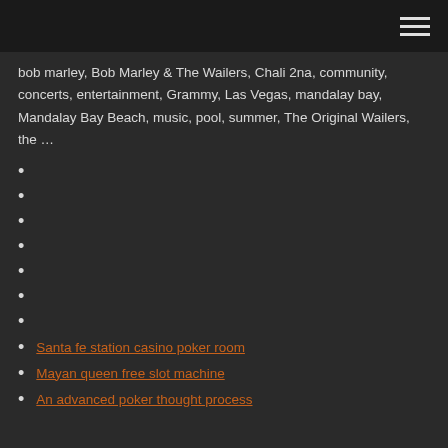bob marley, Bob Marley & The Wailers, Chali 2na, community, concerts, entertainment, Grammy, Las Vegas, mandalay bay, Mandalay Bay Beach, music, pool, summer, The Original Wailers, the …
Santa fe station casino poker room
Mayan queen free slot machine
An advanced poker thought process